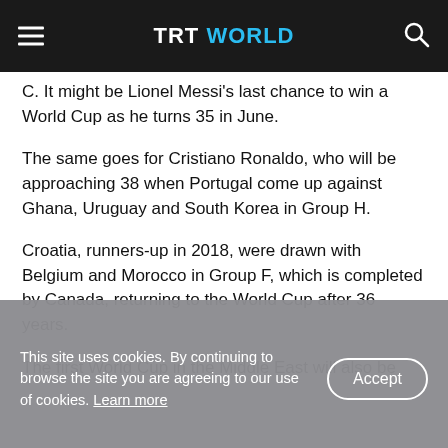TRT WORLD
C. It might be Lionel Messi's last chance to win a World Cup as he turns 35 in June.
The same goes for Cristiano Ronaldo, who will be approaching 38 when Portugal come up against Ghana, Uruguay and South Korea in Group H.
Croatia, runners-up in 2018, were drawn with Belgium and Morocco in Group F, which is completed by Canada, returning to the World Cup after 36 years.
The first World Cup in the Middle East will also be
This site uses cookies. By continuing to browse the site you are agreeing to our use of cookies. Learn more